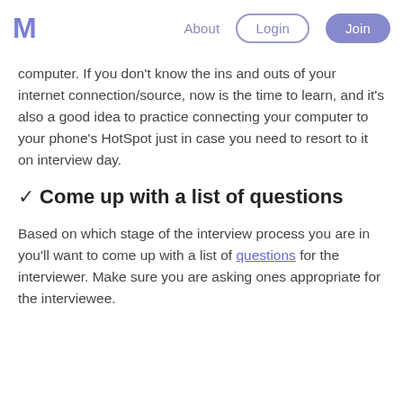M  About  Login  Join
computer. If you don't know the ins and outs of your internet connection/source, now is the time to learn, and it's also a good idea to practice connecting your computer to your phone's HotSpot just in case you need to resort to it on interview day.
✓ Come up with a list of questions
Based on which stage of the interview process you are in you'll want to come up with a list of questions for the interviewee. Make sure you are asking ones appropriate for the interviewee.